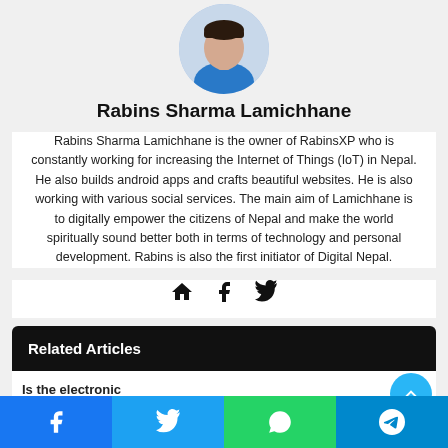[Figure (photo): Circular avatar photo of Rabins Sharma Lamichhane, a young man in a blue shirt]
Rabins Sharma Lamichhane
Rabins Sharma Lamichhane is the owner of RabinsXP who is constantly working for increasing the Internet of Things (IoT) in Nepal. He also builds android apps and crafts beautiful websites. He is also working with various social services. The main aim of Lamichhane is to digitally empower the citizens of Nepal and make the world spiritually sound better both in terms of technology and personal development. Rabins is also the first initiator of Digital Nepal.
[Figure (illustration): Social media icons: home, Facebook, Twitter]
Related Articles
Is the electronic